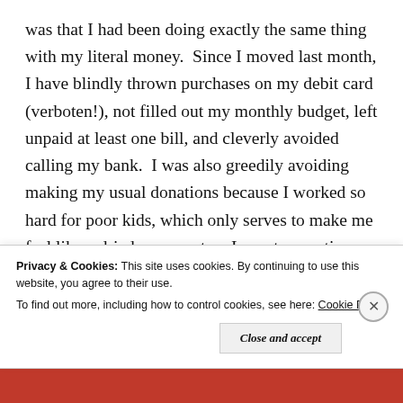was that I had been doing exactly the same thing with my literal money.  Since I moved last month, I have blindly thrown purchases on my debit card (verboten!), not filled out my monthly budget, left unpaid at least one bill, and cleverly avoided calling my bank.  I was also greedily avoiding making my usual donations because I worked so hard for poor kids, which only serves to make me feel like a dried-up monster.  I spent some time a few years ago getting sober with money, and here I was acting drunk again.  It was good that I was reading Eric Clapton's autobiography.  I wish there was a Hazeldon Center for money.  Well, I guess there is: federal prison.
Privacy & Cookies: This site uses cookies. By continuing to use this website, you agree to their use.
To find out more, including how to control cookies, see here: Cookie Policy
Close and accept